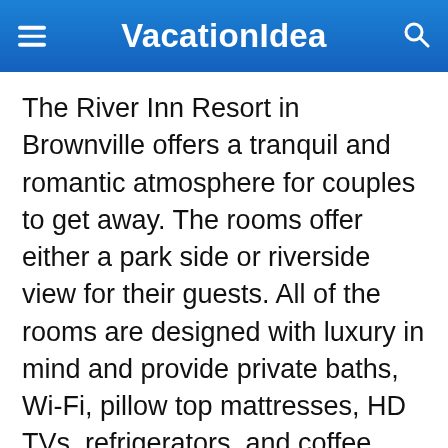VacationIdea
The River Inn Resort in Brownville offers a tranquil and romantic atmosphere for couples to get away. The rooms offer either a park side or riverside view for their guests. All of the rooms are designed with luxury in mind and provide private baths, Wi-Fi, pillow top mattresses, HD TVs, refrigerators, and coffee makers. Exercise equipment is available in the resort, as well as a sunny deck common area where guests can relax or mingle.
Binoculars, books, games, and magazines are